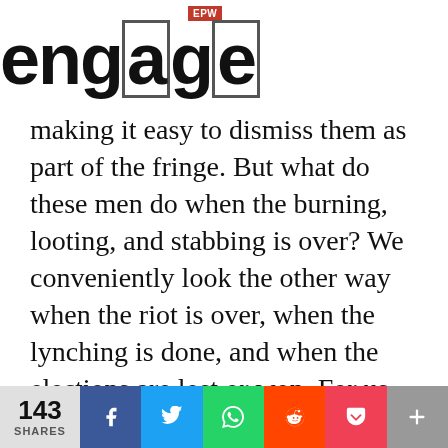EPW engage
making it easy to dismiss them as part of the fringe. But what do these men do when the burning, looting, and stabbing is over? We conveniently look the other way when the riot is over, when the lynching is done, and when the elections are lost or won. For us, the fringe becomes visible only during moments of “exceptional” violence—lynchings, vigilante attacks, moral policing, and massacres. But the fringe is also a world view—Hindu supremacy—that resonates with the fears of common people
143 SHARES | Facebook | Twitter | WhatsApp | Reddit | Pocket | +